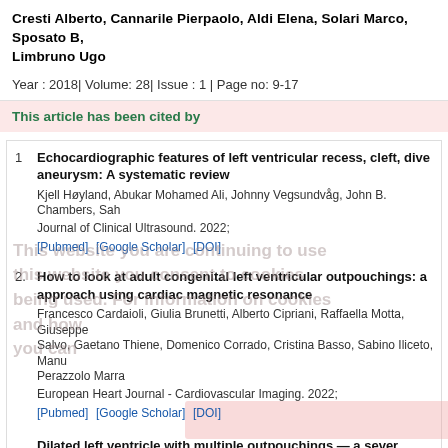Cresti Alberto, Cannarile Pierpaolo, Aldi Elena, Solari Marco, Sposato B, Limbruno Ugo
Year : 2018| Volume: 28| Issue : 1 | Page no: 9-17
This article has been cited by
1. Echocardiographic features of left ventricular recess, cleft, dive aneurysm: A systematic review
Kjell Høyland, Abukar Mohamed Ali, Johnny Vegsundvåg, John B. Chambers, Sah
Journal of Clinical Ultrasound. 2022;
[Pubmed] [Google Scholar] [DOI]
2. How to look at adult congenital left ventricular outpouchings: a approach using cardiac magnetic resonance
Francesco Cardaioli, Giulia Brunetti, Alberto Cipriani, Raffaella Motta, Giuseppe Salvo, Gaetano Thiene, Domenico Corrado, Cristina Basso, Sabino Iliceto, Manu Perazzolo Marra
European Heart Journal - Cardiovascular Imaging. 2022;
[Pubmed] [Google Scholar] [DOI]
Dilated left ventricle with multiple outpouchings — a sever